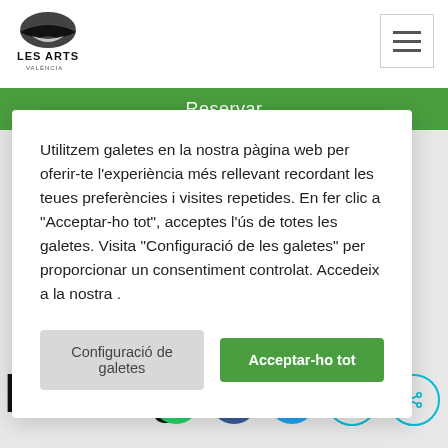[Figure (logo): Les Arts Valencia logo - black bird/wing shape with text LES ARTS VALÈNCIA]
[Figure (other): Hamburger menu button - three horizontal lines in a square border]
Reservar
Les Arts volant
Utilitzem galetes en la nostra pàgina web per oferir-te l'experiència més rellevant recordant les teues preferències i visites repetides. En fer clic a "Acceptar-ho tot", acceptes l'ús de totes les galetes. Visita "Configuració de les galetes" per proporcionar un consentiment controlat. Accedeix a la nostra .
Configuració de galetes
Acceptar-ho tot
© 2022 Les Arts. Tots els drets reservats.
loading
[Figure (other): Social media icons: WhatsApp (green circle), Facebook (dark blue circle), Twitter (light blue circle), Email (teal circle outline), Share (teal circle outline)]